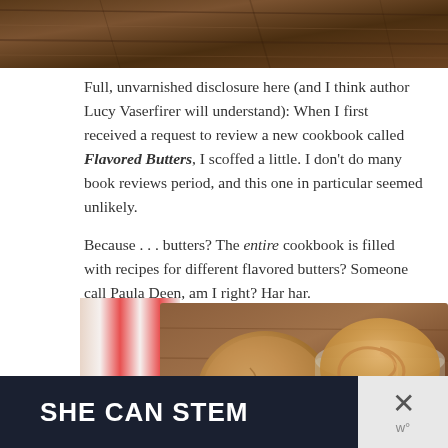[Figure (photo): Top portion of a wooden surface photo, cropped at the top of the page]
Full, unvarnished disclosure here (and I think author Lucy Vaserfirer will understand): When I first received a request to review a new cookbook called Flavored Butters, I scoffed a little. I don't do many book reviews period, and this one in particular seemed unlikely.
Because . . . butters? The entire cookbook is filled with recipes for different flavored butters? Someone call Paula Deen, am I right? Har har.
[Figure (photo): Photo of a cookie and a glass jar of swirled flavored butter on a wooden cutting board with a red and white striped cloth]
[Figure (infographic): Advertisement banner reading SHE CAN STEM with a dark navy background and a close button on the right]